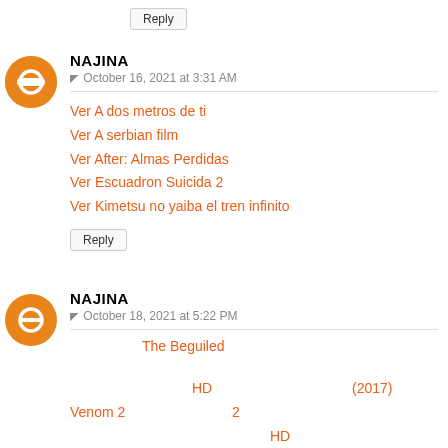Reply
NAJINA
© October 16, 2021 at 3:31 AM
Ver A dos metros de ti
Ver A serbian film
Ver After: Almas Perdidas
Ver Escuadron Suicida 2
Ver Kimetsu no yaiba el tren infinito
Reply
NAJINA
© October 18, 2021 at 5:22 PM
The Beguiled
HD                              (2017)
Venom 2                2
HD
(2021)
Sub khu ku lok
HD